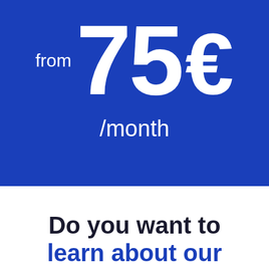from 75 €
/month
Do you want to